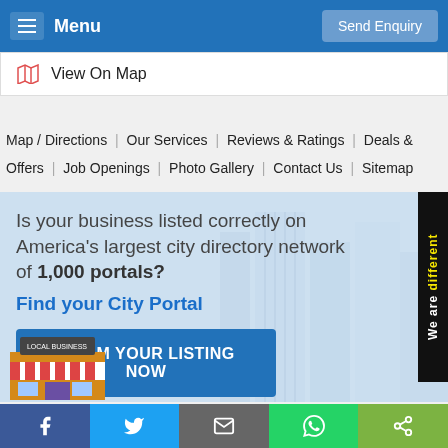Menu | Send Enquiry
View On Map
Map / Directions | Our Services | Reviews & Ratings | Deals & Offers | Job Openings | Photo Gallery | Contact Us | Sitemap
[Figure (infographic): City portal CTA banner with building skyline background, text reading 'Is your business listed correctly on America's largest city directory network of 1,000 portals? Find your City Portal', a blue CLAIM YOUR LISTING NOW button, a local business store illustration, and a black side label reading 'We are different']
Facebook | Twitter | Email | WhatsApp | Share